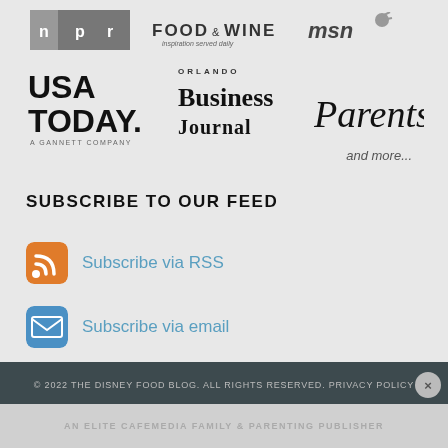[Figure (logo): NPR logo — gray rectangle with n p r in white letters]
[Figure (logo): Food & Wine logo with tagline 'inspiration served daily']
[Figure (logo): MSN logo in italic bold with satellite/dot mark]
[Figure (logo): USA Today logo — bold serif USA TODAY with 'A GANNETT COMPANY' below]
[Figure (logo): Orlando Business Journal logo]
[Figure (logo): Parents magazine logo in italic serif]
and more...
SUBSCRIBE TO OUR FEED
Subscribe via RSS
Subscribe via email
© 2022 THE DISNEY FOOD BLOG. ALL RIGHTS RESERVED. PRIVACY POLICY
AN ELITE CAFEMEDIA FAMILY & PARENTING PUBLISHER